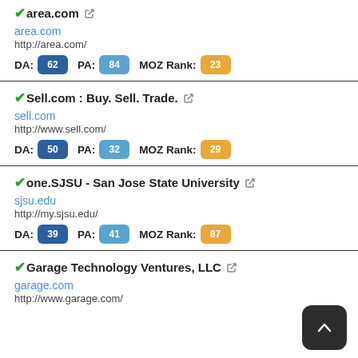area.com — DA: 62, PA: 84, MOZ Rank: 23, area.com, http://area.com/
Sell.com : Buy. Sell. Trade. — DA: 50, PA: 32, MOZ Rank: 29, sell.com, http://www.sell.com/
one.SJSU - San Jose State University — DA: 39, PA: 41, MOZ Rank: 87, sjsu.edu, http://my.sjsu.edu/
Garage Technology Ventures, LLC — garage.com, http://www.garage.com/